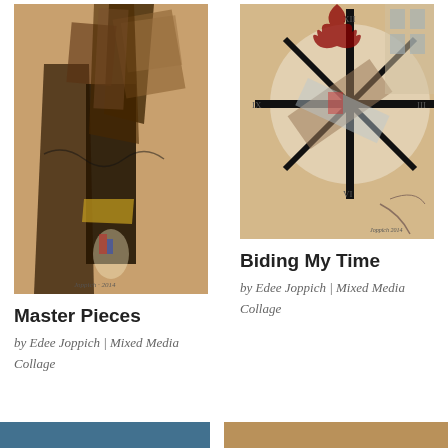[Figure (illustration): Mixed media collage artwork titled Master Pieces by Edee Joppich, featuring torn paper strips arranged in a cross/figure shape with dark and golden tones, signatures at bottom]
Master Pieces
by Edee Joppich | Mixed Media Collage
[Figure (illustration): Mixed media collage artwork titled Biding My Time by Edee Joppich, featuring clock imagery with radiating black spokes, leaf shapes, and geometric elements on a warm background]
Biding My Time
by Edee Joppich | Mixed Media Collage
[Figure (photo): Partial image at bottom left, appears to be blue/teal toned artwork or photograph, cropped]
[Figure (photo): Partial image at bottom right, appears to be warm-toned artwork or photograph, cropped]